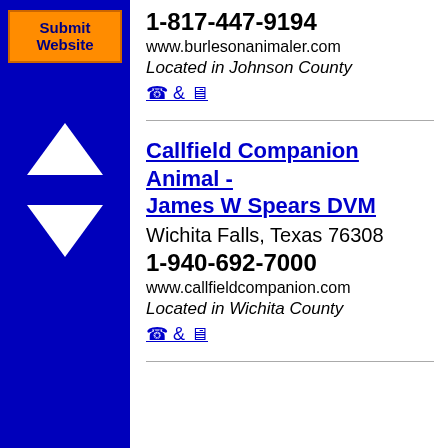1-817-447-9194
www.burlesonanimaler.com
Located in Johnson County
☎ & 🖥
Callfield Companion Animal - James W Spears DVM
Wichita Falls, Texas 76308
1-940-692-7000
www.callfieldcompanion.com
Located in Wichita County
☎ & 🖥